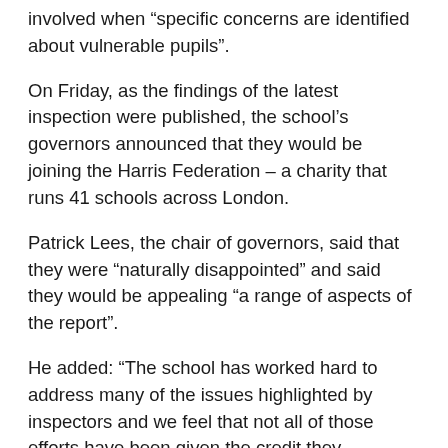involved when “specific concerns are identified about vulnerable pupils”.
On Friday, as the findings of the latest inspection were published, the school’s governors announced that they would be joining the Harris Federation – a charity that runs 41 schools across London.
Patrick Lees, the chair of governors, said that they were “naturally disappointed” and said they would be appealing “a range of aspects of the report”.
He added: “The school has worked hard to address many of the issues highlighted by inspectors and we feel that not all of those efforts have been given the credit they deserve.”
The chief executive of the Harris Federation, Sir Dan Moynihan, said in a statement: “A Special Measures